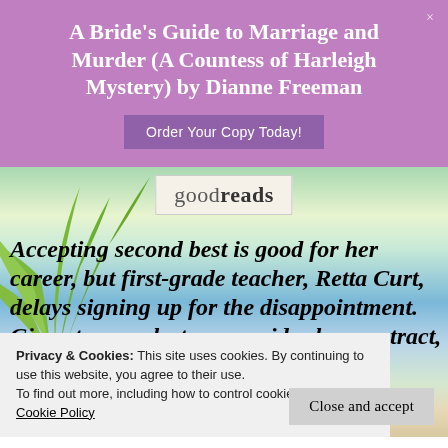A Bride's Guide to Marriage and Murder (A Countess of Harleigh Mystery) by Dianne Freeman
Order Your Copy Today!
[Figure (illustration): Beach scene with palm leaves, blue ocean and sky background, with Goodreads logo badge overlay]
Accepting second best is good for her career, but first-grade teacher, Retta Curt, delays signing up for the disappointment. Given two weeks to reconsider her contract, she retreats to Gram's
Privacy & Cookies: This site uses cookies. By continuing to use this website, you agree to their use.
To find out more, including how to control cookies, see here: Cookie Policy
Close and accept